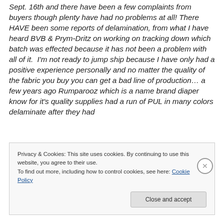Sept. 16th and there have been a few complaints from buyers though plenty have had no problems at all! There HAVE been some reports of delamination, from what I have heard BVB & Prym-Dritz on working on tracking down which batch was effected because it has not been a problem with all of it.  I'm not ready to jump ship because I have only had a positive experience personally and no matter the quality of the fabric you buy you can get a bad line of production… a few years ago Rumparooz which is a name brand diaper know for it's quality supplies had a run of PUL in many colors delaminate after they had
Privacy & Cookies: This site uses cookies. By continuing to use this website, you agree to their use.
To find out more, including how to control cookies, see here: Cookie Policy